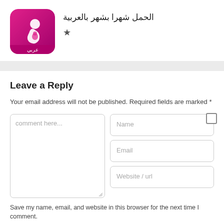[Figure (logo): App icon: pink/magenta gradient background with white mother and baby silhouette, Arabic text label at bottom]
الحمل شهرا بشهر بالعربية
★
Leave a Reply
Your email address will not be published. Required fields are marked *
comment here...
Name
Email
Website / url
Save my name, email, and website in this browser for the next time I comment.